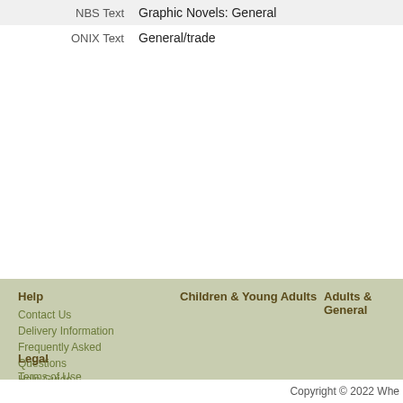| Label | Value |
| --- | --- |
| NBS Text | Graphic Novels: General |
| ONIX Text | General/trade |
Children & Young Adults
Adults & General
Help
Contact Us
Delivery Information
Frequently Asked Questions
Help Guide
About Wheelers
Home Page
Admin
Legal
Terms of Use
Privacy Policy
Copyright © 2022 Whe